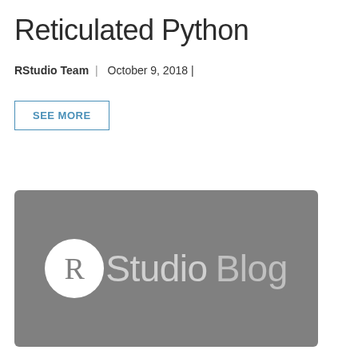Reticulated Python
RStudio Team | October 9, 2018 |
SEE MORE
[Figure (logo): RStudio Blog logo: white circle with R letter on grey background, followed by 'Studio Blog' text in grey and light grey]